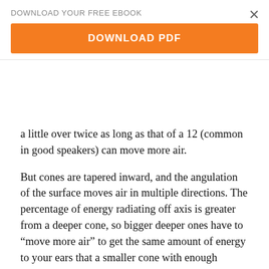DOWNLOAD YOUR FREE EBOOK
[Figure (other): Orange DOWNLOAD PDF button]
a little over twice as long as that of a 12 (common in good speakers) can move more air.
But cones are tapered inward, and the angulation of the surface moves air in multiple directions. The percentage of energy radiating off axis is greater from a deeper cone, so bigger deeper ones have to “move more air” to get the same amount of energy to your ears that a smaller cone with enough excursion can throw directly at you. But bigger speakers are often more efficient, which can compensate for this by generating more output per watt of electrical input. In that case, they do “move more air”, but only